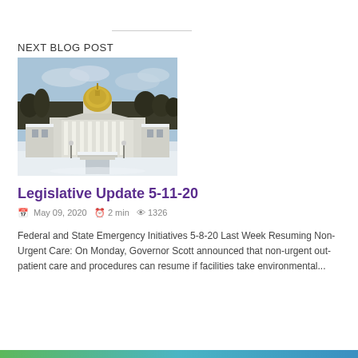NEXT BLOG POST
[Figure (photo): Vermont State House building in winter with snow on the ground, gold dome visible against a cloudy sky with trees in background]
Legislative Update 5-11-20
May 09, 2020   2 min   1326
Federal and State Emergency Initiatives 5-8-20 Last Week Resuming Non-Urgent Care: On Monday, Governor Scott announced that non-urgent out-patient care and procedures can resume if facilities take environmental...